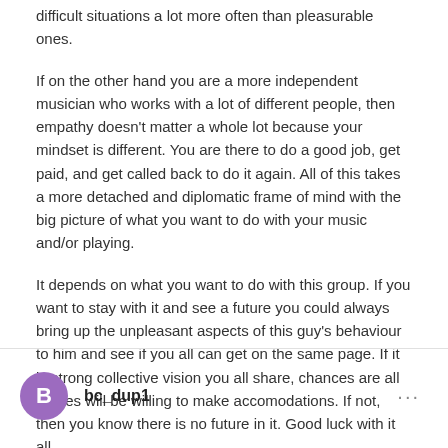difficult situations a lot more often than pleasurable ones.
If on the other hand you are a more independent musician who works with a lot of different people, then empathy doesn't matter a whole lot because your mindset is different. You are there to do a good job, get paid, and get called back to do it again. All of this takes a more detached and diplomatic frame of mind with the big picture of what you want to do with your music and/or playing.
It depends on what you want to do with this group. If you want to stay with it and see a future you could always bring up the unpleasant aspects of this guy's behaviour to him and see if you all can get on the same page. If it is strong collective vision you all share, chances are all parties will be willing to make accomodations. If not, then you know there is no future in it. Good luck with it all.
bc_dup1